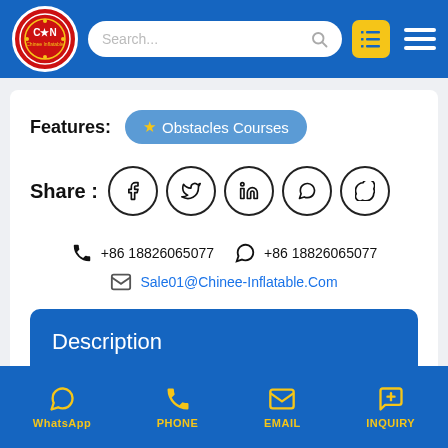[Figure (screenshot): Website header with Chinee Inflatable logo, search bar, list icon, and hamburger menu on blue background]
Features: ★ Obstacles Courses
Share : [Facebook] [Twitter] [LinkedIn] [WhatsApp] [Skype]
+86 18826065077  +86 18826065077  Sale01@Chinee-Inflatable.Com
Description
WhatsApp  PHONE  EMAIL  INQUIRY